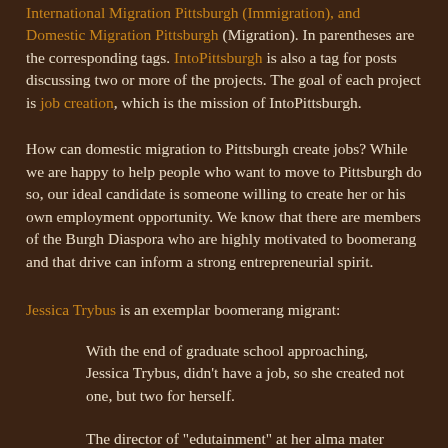International Migration Pittsburgh (Immigration), and Domestic Migration Pittsburgh (Migration). In parentheses are the corresponding tags. IntoPittsburgh is also a tag for posts discussing two or more of the projects. The goal of each project is job creation, which is the mission of IntoPittsburgh.
How can domestic migration to Pittsburgh create jobs? While we are happy to help people who want to move to Pittsburgh do so, our ideal candidate is someone willing to create her or his own employment opportunity. We know that there are members of the Burgh Diaspora who are highly motivated to boomerang and that drive can inform a strong entrepreneurial spirit.
Jessica Trybus is an exemplar boomerang migrant:
With the end of graduate school approaching, Jessica Trybus, didn't have a job, so she created not one, but two for herself.
The director of "edutainment" at her alma mater Carnegie Mellon University's Entertainment